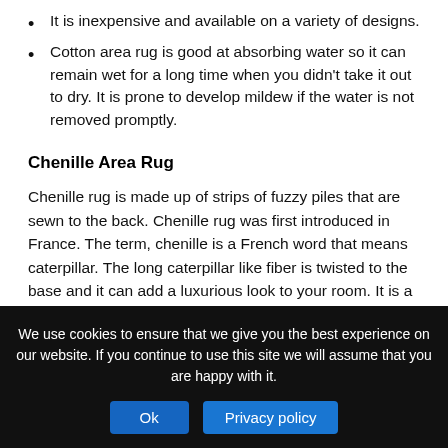It is inexpensive and available on a variety of designs.
Cotton area rug is good at absorbing water so it can remain wet for a long time when you didn't take it out to dry. It is prone to develop mildew if the water is not removed promptly.
Chenille Area Rug
Chenille rug is made up of strips of fuzzy piles that are sewn to the back. Chenille rug was first introduced in France. The term, chenille is a French word that means caterpillar. The long caterpillar like fiber is twisted to the base and it can add a luxurious look to your room. It is a popular choice of rug
We use cookies to ensure that we give you the best experience on our website. If you continue to use this site we will assume that you are happy with it.